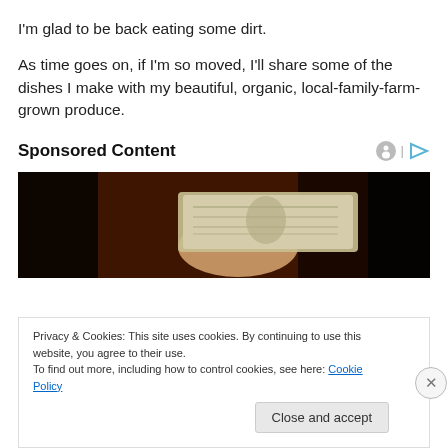I'm glad to be back eating some dirt.
As time goes on, if I'm so moved, I'll share some of the dishes I make with my beautiful, organic, local-family-farm-grown produce.
Sponsored Content
[Figure (photo): Photo of a hand holding a stack of dollar bills, shown from above against a dark background.]
Privacy & Cookies: This site uses cookies. By continuing to use this website, you agree to their use.
To find out more, including how to control cookies, see here: Cookie Policy
Close and accept